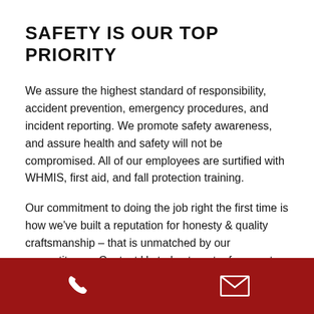SAFETY IS OUR TOP PRIORITY
We assure the highest standard of responsibility, accident prevention, emergency procedures, and incident reporting. We promote safety awareness, and assure health and safety will not be compromised. All of our employees are surtified with WHMIS, first aid, and fall protection training.
Our commitment to doing the job right the first time is how we've built a reputation for honesty & quality craftsmanship – that is unmatched by our competitors. – Contact Us today to get a free quote.
[Figure (infographic): Dark red footer bar with a white phone handset icon on the left and a white envelope/mail icon on the right]